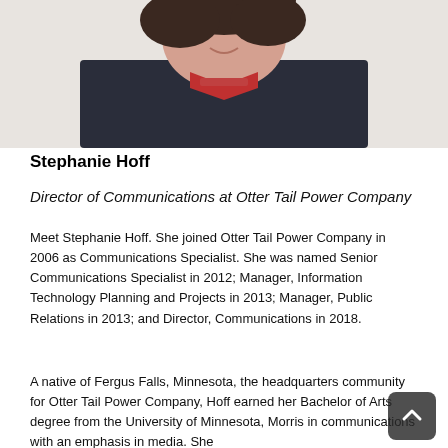[Figure (photo): Professional headshot of Stephanie Hoff, a woman with short dark curly hair, wearing a dark navy blazer and a coral/red necklace, smiling, against a light background.]
Stephanie Hoff
Director of Communications at Otter Tail Power Company
Meet Stephanie Hoff. She joined Otter Tail Power Company in 2006 as Communications Specialist. She was named Senior Communications Specialist in 2012; Manager, Information Technology Planning and Projects in 2013; Manager, Public Relations in 2013; and Director, Communications in 2018.
A native of Fergus Falls, Minnesota, the headquarters community for Otter Tail Power Company, Hoff earned her Bachelor of Arts degree from the University of Minnesota, Morris in communications with an emphasis in media. She